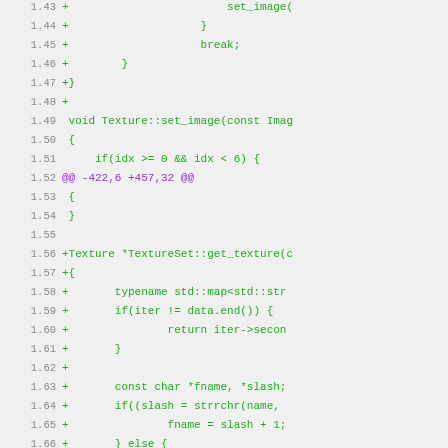[Figure (screenshot): Code diff view showing lines 1.43 to 1.75 of a source file. Lines with '+' are additions in green, diff hunk header in purple. Content includes C++ code for Texture and TextureSet classes.]